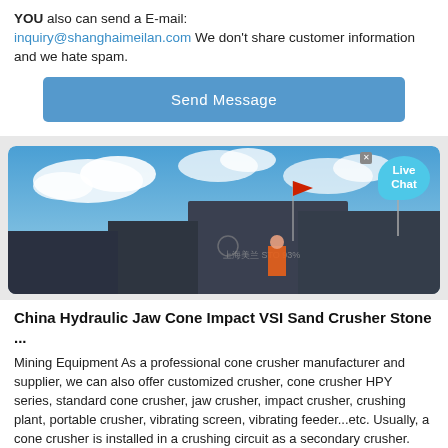YOU also can send a E-mail: inquiry@shanghaimeilan.com We don't share customer information and we hate spam.
Send Message
[Figure (photo): Outdoor photo of heavy industrial/mining machinery with flags on top against a blue sky with clouds. Text on equipment reads Chinese characters and a logo.]
China Hydraulic Jaw Cone Impact VSI Sand Crusher Stone ...
Mining Equipment As a professional cone crusher manufacturer and supplier, we can also offer customized crusher, cone crusher HPY series, standard cone crusher, jaw crusher, impact crusher, crushing plant, portable crusher, vibrating screen, vibrating feeder...etc. Usually, a cone crusher is installed in a crushing circuit as a secondary crusher. Pre-crushed material fed in via the top of the ...